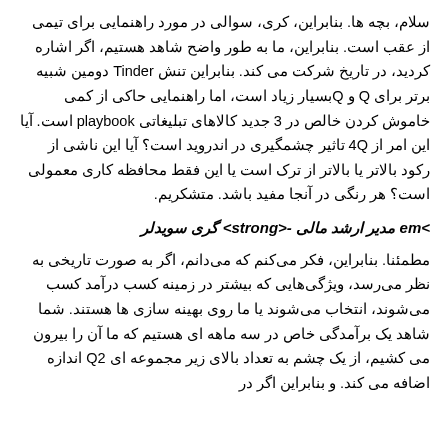سلام، بچه ها. بنابراین، کری، سوالی در مورد راهنمایی برای تیمی از عقب است. بنابراین، ما به طور واضح شاهد هستیم، اگر اشاره کردید، در تاریخ شرکت می کند. بنابراین تنش Tinder دومین شبیه برتر برای Q و Qبسیار زیاد است، اما راهنمایی حاکی از کمی خاموش کردن خالص در 3 جدید کالاهای تبلیغاتی playbook است. آیا این امر از 4Q تاثیر چشمگیری در اندروید است؟ آیا این ناشی از رکود بالاتر یا بالاتر از ترک است یا این فقط محافظه کاری معمولی است؟ هر رنگی در آنجا مفید باشد. متشکریم.
>em مدیر ارشد مالی -<strong گری سویدلر
مطمئنا. بنابراین، فکر می‌کنم که می‌دانم، اگر به صورت تاریخی به نظر می‌رسد، ویژگی‌هایی که بیشتر در زمینه کسب درآمد کسب می‌شوند، انتخاب می‌شوند یا ما روی بهینه سازی ها هستند. شما شاهد یک برآمدگی خاص در سه ماهه ای هستیم که ما آن را بیرون می کشیم، از یک چشم به تعداد بالای زیر مجموعه ای Q2 اندازه اضافه می کند. و بنابراین اگر در